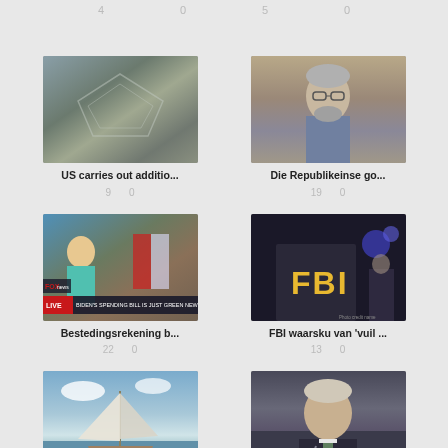4  0  5  0
[Figure (photo): Aerial view of the Pentagon building]
US carries out additio...
9  0
[Figure (photo): Man with gray hair and glasses in blue shirt]
Die Republikeinse go...
19  0
[Figure (screenshot): Fox News live broadcast screenshot with Biden spending bill chyron]
Bestedingsrekening b...
22  0
[Figure (photo): FBI agent jacket with police lights in background]
FBI waarsku van 'vuil ...
13  0
[Figure (photo): Sailboat with large white sails on water with crowd]
Honderde Haïtiaanse ...
25  0
[Figure (photo): Middle-aged man in dark suit at a hearing or press conference]
Former high-level Rus...
23  0